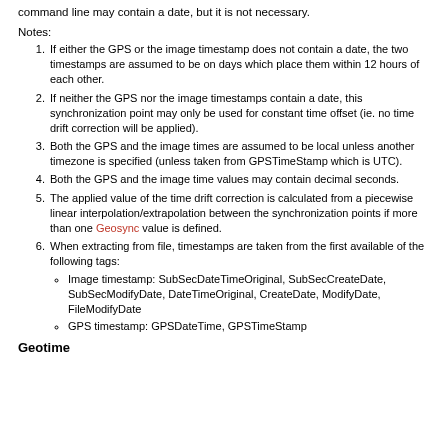command line may contain a date, but it is not necessary.
Notes:
If either the GPS or the image timestamp does not contain a date, the two timestamps are assumed to be on days which place them within 12 hours of each other.
If neither the GPS nor the image timestamps contain a date, this synchronization point may only be used for constant time offset (ie. no time drift correction will be applied).
Both the GPS and the image times are assumed to be local unless another timezone is specified (unless taken from GPSTimeStamp which is UTC).
Both the GPS and the image time values may contain decimal seconds.
The applied value of the time drift correction is calculated from a piecewise linear interpolation/extrapolation between the synchronization points if more than one Geosync value is defined.
When extracting from file, timestamps are taken from the first available of the following tags:
Image timestamp: SubSecDateTimeOriginal, SubSecCreateDate, SubSecModifyDate, DateTimeOriginal, CreateDate, ModifyDate, FileModifyDate
GPS timestamp: GPSDateTime, GPSTimeStamp
Geotime